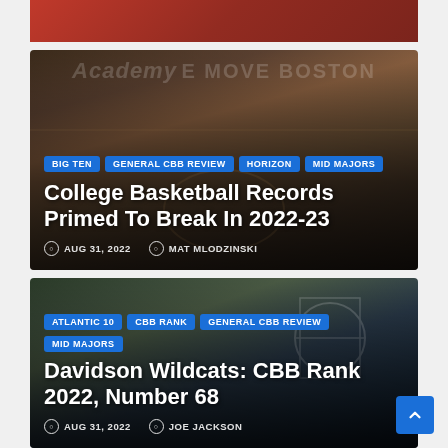[Figure (photo): Partial top strip of a basketball article card, showing a red basketball court scene (cropped)]
[Figure (photo): Basketball game photo with 'Academy' and 'E MOVE BOSTON' text visible in background, player in navy uniform dribbling]
BIG TEN
GENERAL CBB REVIEW
HORIZON
MID MAJORS
College Basketball Records Primed To Break In 2022-23
AUG 31, 2022   MAT MLODZINSKI
[Figure (photo): Basketball game photo with 'STATE 11' jersey visible and 'DAVIDSON' player driving to basket]
ATLANTIC 10
CBB RANK
GENERAL CBB REVIEW
MID MAJORS
Davidson Wildcats: CBB Rank 2022, Number 68
AUG 31, 2022   JOE JACKSON